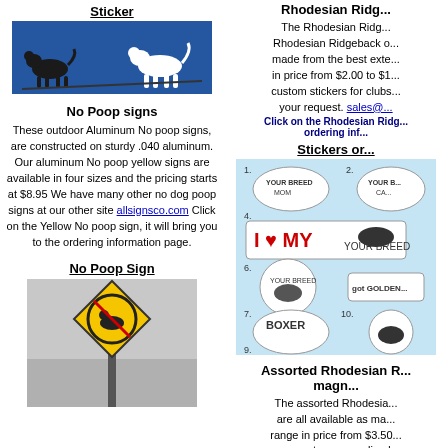Sticker
[Figure (photo): Blue background with black and white dog silhouette stickers — Rhodesian Ridgeback sticker photo]
No Poop signs
These outdoor Aluminum No poop signs, are constructed on sturdy .040 aluminum. Our aluminum No poop yellow signs are available in four sizes and the pricing starts at $8.95 We have many other no dog poop signs at our other site allsignsco.com Click on the Yellow No poop sign, it will bring you to the ordering information page.
No Poop Sign
[Figure (photo): Yellow diamond-shaped no poop sign on a pole in black and white background]
Rhodesian Ridg...
The Rhodesian Ridg... Rhodesian Ridgeback o... made from the best exte... in price from $2.00 to $1... custom stickers for clubs... your request. sales@... Click on the Rhodesian Ridg... ordering inf...
Stickers or...
[Figure (photo): Grid of assorted dog breed stickers/magnets including YOUR BREED MOM, I LOVE MY, got GOLDEN, BOXER, etc.]
Assorted Rhodesian R... magn...
The assorted Rhodesia... are all available as ma... range in price from $3.50... you want a personalized... sticker. We can also d... magnets for clubs, just e... request. sales@e...